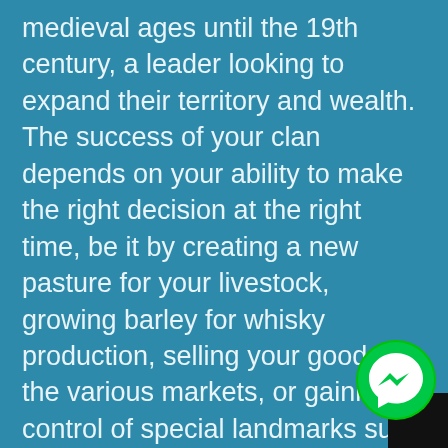medieval ages until the 19th century, a leader looking to expand their territory and wealth. The success of your clan depends on your ability to make the right decision at the right time, be it by creating a new pasture for your livestock, growing barley for whisky production, selling your goods on the various markets, or gaining control of special landmarks such as lochs and castles.
The game lasts four rounds, represented by four stacks of tiles.
After each round, a scoring phase takes place which players compare their number of whisky casks, scotsmen in the home castle, landmark
[Figure (illustration): Green circular Facebook Messenger icon with white lightning bolt/chat symbol, positioned in bottom right corner over a black triangular corner element]